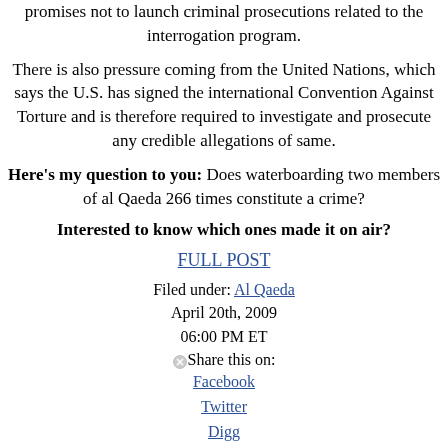promises not to launch criminal prosecutions related to the interrogation program.
There is also pressure coming from the United Nations, which says the U.S. has signed the international Convention Against Torture and is therefore required to investigate and prosecute any credible allegations of same.
Here's my question to you: Does waterboarding two members of al Qaeda 266 times constitute a crime?
Interested to know which ones made it on air?
FULL POST
Filed under: Al Qaeda
April 20th, 2009
06:00 PM ET
Share this on:
Facebook
Twitter
Digg
del.icio.us
reddit
MySpace